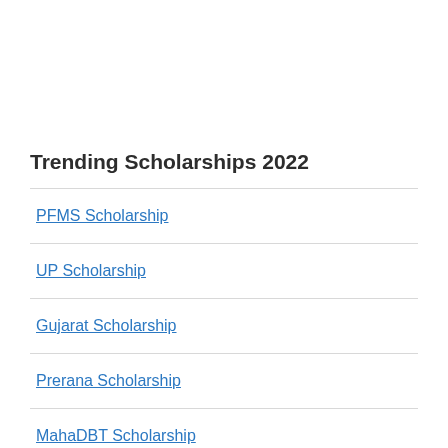Trending Scholarships 2022
PFMS Scholarship
UP Scholarship
Gujarat Scholarship
Prerana Scholarship
MahaDBT Scholarship